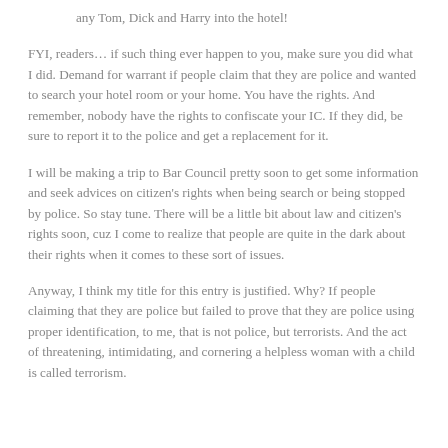any Tom, Dick and Harry into the hotel!
FYI, readers… if such thing ever happen to you, make sure you did what I did. Demand for warrant if people claim that they are police and wanted to search your hotel room or your home. You have the rights. And remember, nobody have the rights to confiscate your IC. If they did, be sure to report it to the police and get a replacement for it.
I will be making a trip to Bar Council pretty soon to get some information and seek advices on citizen's rights when being search or being stopped by police. So stay tune. There will be a little bit about law and citizen's rights soon, cuz I come to realize that people are quite in the dark about their rights when it comes to these sort of issues.
Anyway, I think my title for this entry is justified. Why? If people claiming that they are police but failed to prove that they are police using proper identification, to me, that is not police, but terrorists. And the act of threatening, intimidating, and cornering a helpless woman with a child is called terrorism.